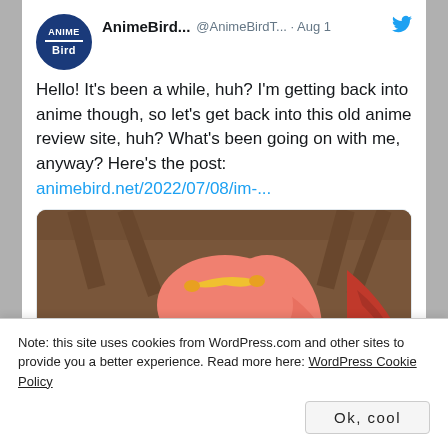AnimeBird... @AnimeBirdT... · Aug 1
Hello! It's been a while, huh? I'm getting back into anime though, so let's get back into this old anime review site, huh? What's been going on with me, anyway? Here's the post:
animebird.net/2022/07/08/im-...
[Figure (illustration): Anime character with pink hair and green eyes wearing a white shirt with a dark collar, looking surprised or concerned, in an indoor setting]
animebird.net
Note: this site uses cookies from WordPress.com and other sites to provide you a better experience. Read more here: WordPress Cookie Policy
Ok, cool